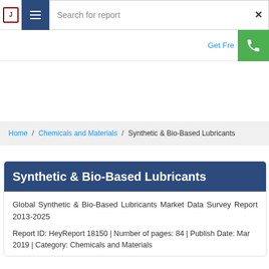Search for report
Get Free
Home / Chemicals and Materials / Synthetic & Bio-Based Lubricants
Synthetic & Bio-Based Lubricants
Global Synthetic & Bio-Based Lubricants Market Data Survey Report 2013-2025
Report ID: HeyReport 18150 | Number of pages: 84 | Publish Date: Mar 2019 | Category: Chemicals and Materials